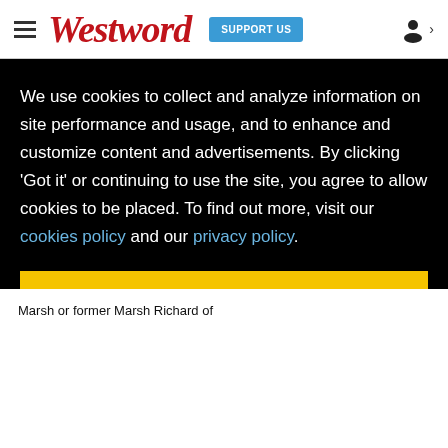Westword — SUPPORT US
If Tausha Marsh Did Fake Cancer, Here's How She Invested Her Profits With the
We use cookies to collect and analyze information on site performance and usage, and to enhance and customize content and advertisements. By clicking 'Got it' or continuing to use the site, you agree to allow cookies to be placed. To find out more, visit our cookies policy and our privacy policy.
Got it!
Marsh or former Marsh Richard of